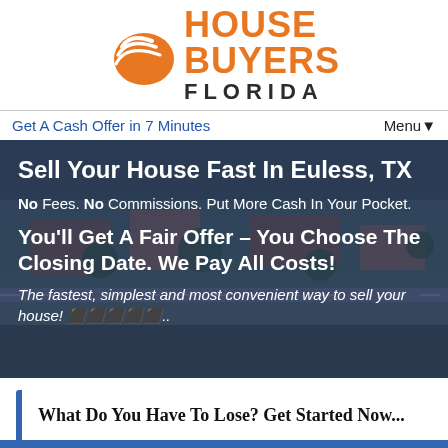[Figure (logo): House Buyers Florida logo with orange oval swoosh graphic and orange text 'HOUSE BUYERS' with dark 'FLORIDA' below]
Get A Cash Offer in 7 Minutes
Menu ▾
Sell Your House Fast In Euless, TX
No Fees. No Commissions. Put More Cash In Your Pocket.
You'll Get A Fair Offer – You Choose The Closing Date. We Pay All Costs!
The fastest, simplest and most convenient way to sell your house! 🏠🏠🏠🏠🏠..
What Do You Have To Lose? Get Started Now...
We buy houses in ANY CONDITION in TX. There are no commissions or fees and no obligation whatsoever.